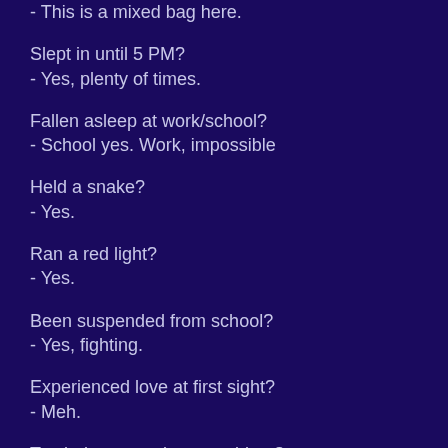- This is a mixed bag here.
Slept in until 5 PM?
- Yes, plenty of times.
Fallen asleep at work/school?
- School yes. Work, impossible
Held a snake?
- Yes.
Ran a red light?
- Yes.
Been suspended from school?
- Yes, fighting.
Experienced love at first sight?
- Meh.
Totaled your car in an accident?
- No.
Been fired from a job?
- No.
Fired somebody?
- N/A
Sung karaoke?